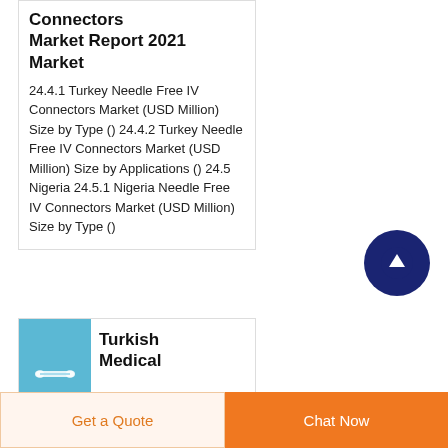Connectors Market Report 2021 Market
24.4.1 Turkey Needle Free IV Connectors Market (USD Million) Size by Type () 24.4.2 Turkey Needle Free IV Connectors Market (USD Million) Size by Applications () 24.5 Nigeria 24.5.1 Nigeria Needle Free IV Connectors Market (USD Million) Size by Type ()
[Figure (photo): Blue background image of a medical IV connector]
Turkish Medical